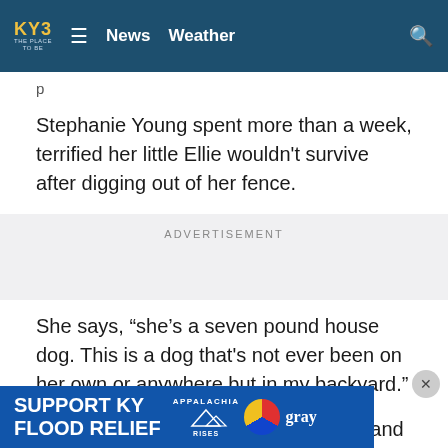KY3 THE PLACE TO BE | News  Weather
Stephanie Young spent more than a week, terrified her little Ellie wouldn't survive after digging out of her fence.
ADVERTISEMENT
She says, “she’s a seven pound house dog. This is a dog that's not ever been on her own or anywhere but in my backyard.”
After posting Ellie on the Leigh’s Lost and Found page, Stephanie started getting some sightings. These posts also go
[Figure (infographic): SUPPORT KY FLOOD RELIEF banner with Appalachia Rises logo and Gray Television logo]